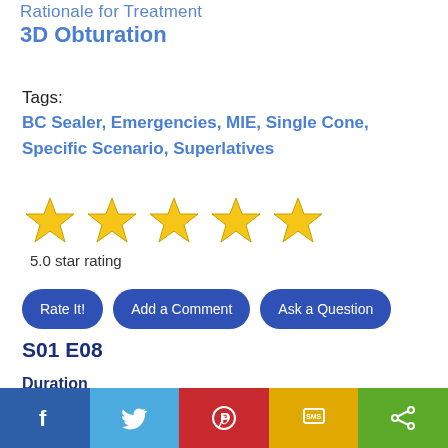Rationale for Treatment
3D Obturation
Tags:
BC Sealer, Emergencies, MIE, Single Cone, Specific Scenario, Superlatives
[Figure (other): 5-star rating display showing 5 gold stars and text '5.0 star rating']
Rate It!
Add a Comment
Ask a Question
S01 E08
Duration
55:30
[Figure (infographic): Social sharing bar with Facebook, Twitter, Pinterest, SMS, and Share buttons]